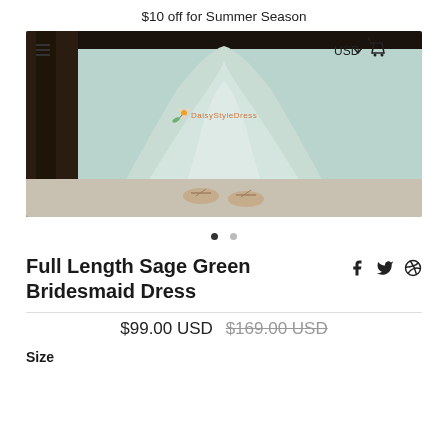$10 off for Summer Season
[Figure (photo): Photo of lower portion of a sage green / mint chiffon bridesmaid dress with a watermark logo 'DaisyStyleDress', showing the hem and sandaled feet, with a dark wooden background. Navigation icons (hamburger menu, USD currency selector with dropdown arrow, and shopping cart icon) overlay the image corners.]
• •
Full Length Sage Green Bridesmaid Dress
$99.00 USD  $169.00 USD
Size